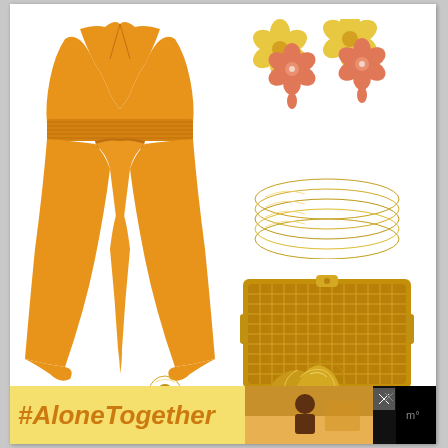[Figure (photo): Fashion collage showing an orange/amber sleeveless v-neck midi dress with smocked waist and hankerchief hem, paired with flower earrings (pink and yellow), gold bangle bracelets, a gold woven clutch purse, and a gold cuff/sculptural ring accessory, all on white background]
#AloneTogether